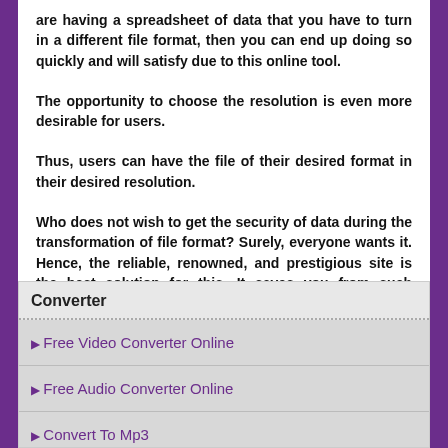are having a spreadsheet of data that you have to turn in a different file format, then you can end up doing so quickly and will satisfy due to this online tool.
The opportunity to choose the resolution is even more desirable for users.
Thus, users can have the file of their desired format in their desired resolution.
Who does not wish to get the security of data during the transformation of file format? Surely, everyone wants it. Hence, the reliable, renowned, and prestigious site is the best solution for this. It saves you from such drawbacks of file conversion and saves your precious money and time while ensuring peace of mind. So, you must try it to believe it!
Converter
Free Video Converter Online
Free Audio Converter Online
Convert To Mp3